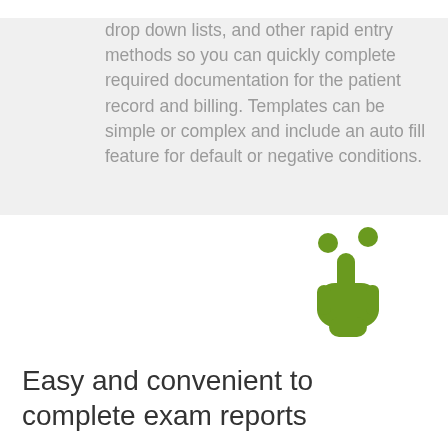drop down lists, and other rapid entry methods so you can quickly complete required documentation for the patient record and billing. Templates can be simple or complex and include an auto fill feature for default or negative conditions.
[Figure (illustration): A green hand/finger icon with two dots above it, representing touch or click interaction]
Easy and convenient to complete exam reports
Ultrasound exam report compliance improves when it is simple and fast to complete the report. Qview provides a means to document exam results using Qpath worksheets...